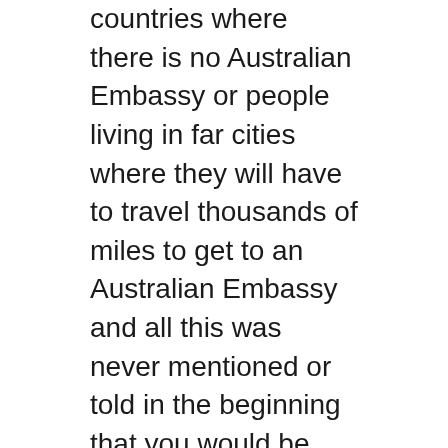countries where there is no Australian Embassy or people living in far cities where they will have to travel thousands of miles to get to an Australian Embassy and all this was never mentioned or told in the beginning that you would be required to do all this. Luckily, we had an Australian Embassy in our city and had to do the time and money wasting job of getting the documents certified but think of those people who don`t have an Australian Embassy in their country and they have ended up paying 50% advance to this scammer.
The trouble was just started and after we got our documents certified from the Australian Embassy then we scanned them